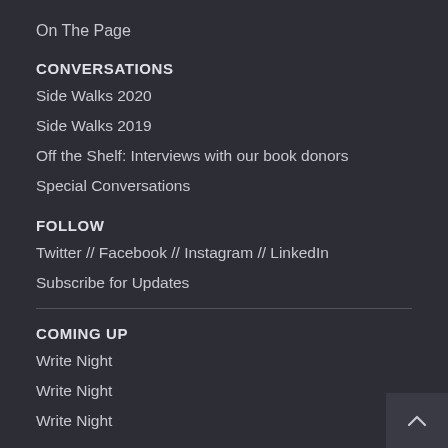On The Page
CONVERSATIONS
Side Walks 2020
Side Walks 2019
Off the Shelf: Interviews with our book donors
Special Conversations
FOLLOW
Twitter // Facebook // Instagram // LinkedIn
Subscribe for Updates
COMING UP
Write Night
Write Night
Write Night